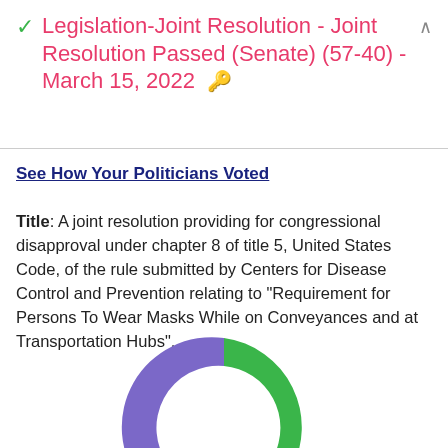Legislation-Joint Resolution - Joint Resolution Passed (Senate) (57-40) - March 15, 2022
See How Your Politicians Voted
Title: A joint resolution providing for congressional disapproval under chapter 8 of title 5, United States Code, of the rule submitted by Centers for Disease Control and Prevention relating to "Requirement for Persons To Wear Masks While on Conveyances and at Transportation Hubs".
[Figure (donut-chart): Partial donut chart showing vote breakdown, with green arc (majority, Yea 57) and purple arc (minority, Nay 40), partially visible at bottom of page]